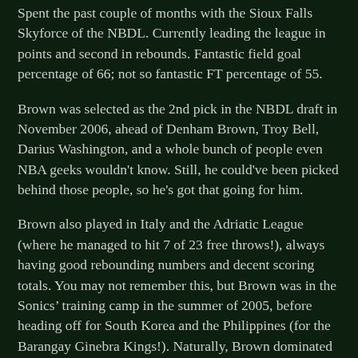Spent the past couple of months with the Sioux Falls Skyforce of the NBDL. Currently leading the league in points and second in rebounds. Fantastic field goal percentage of 66; not so fantastic FT percentage of 55.
Brown was selected as the 2nd pick in the NBDL draft in November 2006, ahead of Denham Brown, Troy Bell, Darius Washington, and a whole bunch of people even NBA geeks wouldn't know. Still, he could've been picked behind those people, so he's got that going for him.
Brown also played in Italy and the Adriatic League (where he managed to hit 7 of 23 free throws!), always having good rebounding numbers and decent scoring totals. You may not remember this, but Brown was in the Sonics' training camp in the summer of 2005, before heading off for South Korea and the Philippines (for the Barangay Ginebra Kings!). Naturally, Brown dominated in the Philippines, inasmuch as he would have been the only person taller than 5'3" in the entire country.
Brown's most well known experience was for DePaul, averaging close to a double-double during for his four-year...